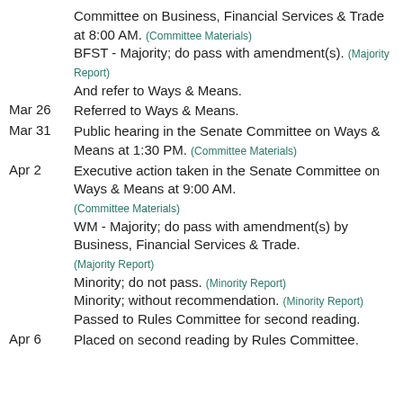Committee on Business, Financial Services & Trade at 8:00 AM. (Committee Materials) BFST - Majority; do pass with amendment(s). (Majority Report) And refer to Ways & Means.
Mar 26  Referred to Ways & Means.
Mar 31  Public hearing in the Senate Committee on Ways & Means at 1:30 PM. (Committee Materials)
Apr 2   Executive action taken in the Senate Committee on Ways & Means at 9:00 AM. (Committee Materials) WM - Majority; do pass with amendment(s) by Business, Financial Services & Trade. (Majority Report) Minority; do not pass. (Minority Report) Minority; without recommendation. (Minority Report) Passed to Rules Committee for second reading.
Apr 6   Placed on second reading by Rules Committee.